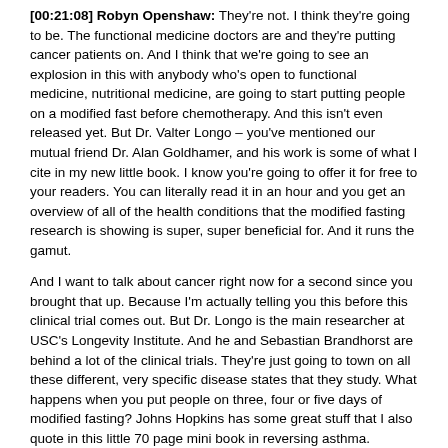[00:21:08] Robyn Openshaw: They're not. I think they're going to be. The functional medicine doctors are and they're putting cancer patients on. And I think that we're going to see an explosion in this with anybody who's open to functional medicine, nutritional medicine, are going to start putting people on a modified fast before chemotherapy. And this isn't even released yet. But Dr. Valter Longo – you've mentioned our mutual friend Dr. Alan Goldhamer, and his work is some of what I cite in my new little book. I know you're going to offer it for free to your readers. You can literally read it in an hour and you get an overview of all of the health conditions that the modified fasting research is showing is super, super beneficial for. And it runs the gamut.
And I want to talk about cancer right now for a second since you brought that up. Because I'm actually telling you this before this clinical trial comes out. But Dr. Longo is the main researcher at USC's Longevity Institute. And he and Sebastian Brandhorst are behind a lot of the clinical trials. They're just going to town on all these different, very specific disease states that they study. What happens when you put people on three, four or five days of modified fasting? Johns Hopkins has some great stuff that I also quote in this little 70 page mini book in reversing asthma.
But let's go back to cancer. The animal studies, usually any hypothesis comes, then you go to an animal study. And then when animals see a major reversal in disease, then you take it into human trial. And that's what they're coming out with. They're going to be recommending a four day modified fast before chemo, because what they found in animals and apparently the human study that they're coming out with, also really, really exciting results. But three